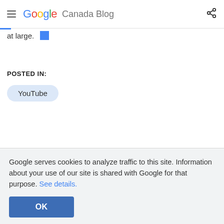Google Canada Blog
at large.
POSTED IN:
YouTube
Google serves cookies to analyze traffic to this site. Information about your use of our site is shared with Google for that purpose. See details.